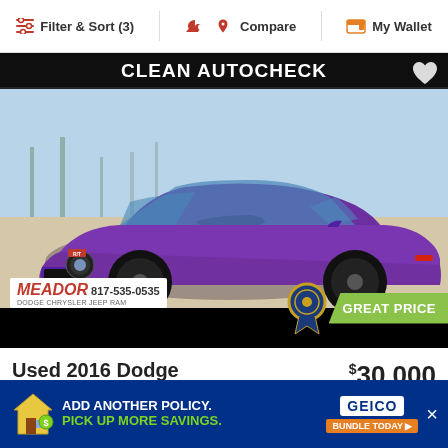Filter & Sort (3)   Compare   My Wallet
[Figure (photo): Purple 2016 Dodge Challenger R/T Plus photographed outdoors with CLEAN AUTOCHECK banner and Meador dealership branding (817-535-0535). Great Price badge in lower right corner.]
Used 2016 Dodge Challenger R/T Plus
$30,000
Quick
59,70
[Figure (infographic): GEICO advertisement banner: ADD ANOTHER POLICY. PICK UP MORE SAVINGS. BUNDLE TODAY. Blue background with green text and house/money icons.]